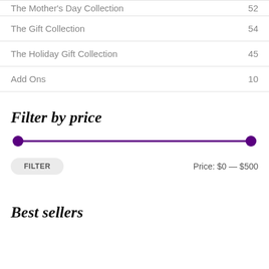The Mother's Day Collection  52
The Gift Collection  54
The Holiday Gift Collection  45
Add Ons  10
Filter by price
Price: $0 — $500
Best sellers